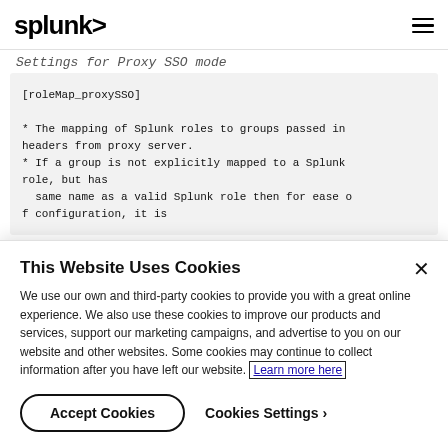splunk>
Settings for Proxy SSO mode
[roleMap_proxySSO]

* The mapping of Splunk roles to groups passed in headers from proxy server.
* If a group is not explicitly mapped to a Splunk role, but has
  same name as a valid Splunk role then for ease of configuration, it is
This Website Uses Cookies
We use our own and third-party cookies to provide you with a great online experience. We also use these cookies to improve our products and services, support our marketing campaigns, and advertise to you on our website and other websites. Some cookies may continue to collect information after you have left our website. Learn more here
Accept Cookies
Cookies Settings ›